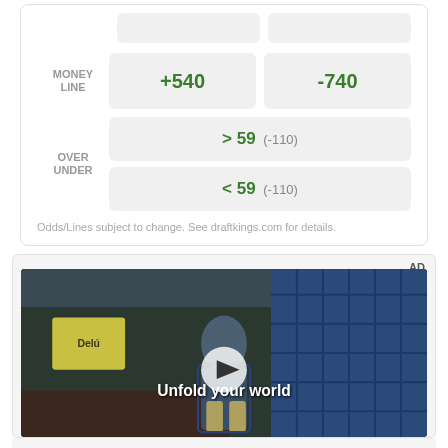| MONEY LINE | +540 | -740 |
| OVER UNDER | > 59 (-110) | < 59 (-110) |
Odds/Lines subject to change. See draftkings.com for details.
AD
[Figure (photo): Video advertisement showing a young man in a denim jacket standing in a fast food restaurant setting. Text reads 'Unfold your world' with a play button overlay.]